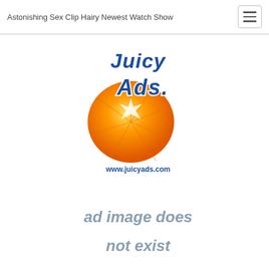Astonishing Sex Clip Hairy Newest Watch Show
[Figure (logo): JuicyAds logo with orange citrus graphic and text 'Juicy Ads' with www.juicyads.com URL]
[Figure (other): Ad placeholder graphic reading 'ad image does not exist' in grey text]